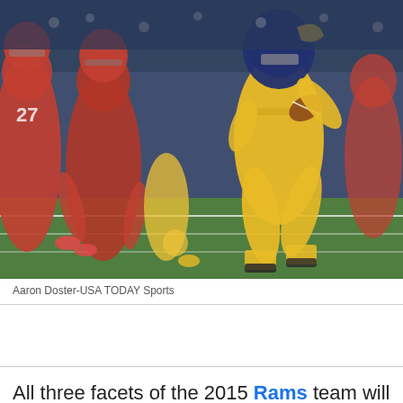[Figure (photo): NFL football game action photo showing a Los Angeles Rams player in gold/yellow uniform carrying the ball, running past defenders in red Tampa Bay Buccaneers uniforms on a green field with stadium background.]
Aaron Doster-USA TODAY Sports
All three facets of the 2015 Rams team will be represented in the Pro Bowl. The roster for the NFL's